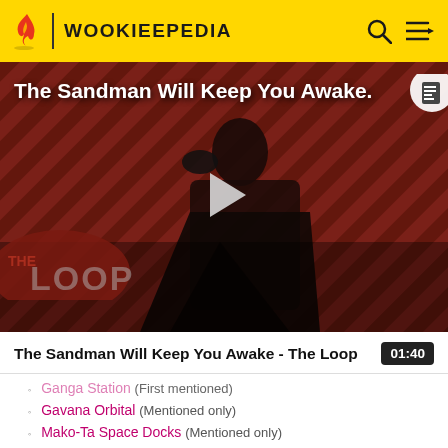WOOKIEEPEDIA
[Figure (screenshot): Video thumbnail showing a man in black robes holding a raven against a red diagonal striped background with 'THE LOOP' text overlay. Title overlay reads 'The Sandman Will Keep You Awake.']
The Sandman Will Keep You Awake - The Loop | 01:40
Ganga Station (First mentioned)
Gavana Orbital (Mentioned only)
Mako-Ta Space Docks (Mentioned only)
Nadiri Dockyards (Mentioned only)
Orbital One (Indirect mention only)